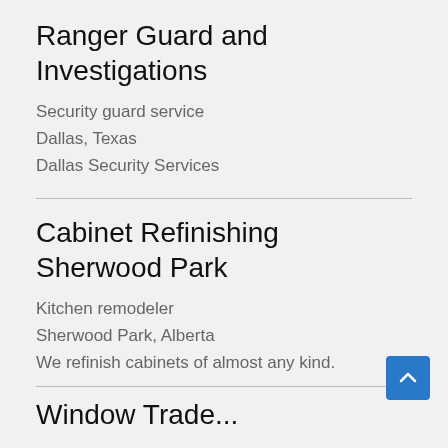Ranger Guard and Investigations
Security guard service
Dallas, Texas
Dallas Security Services
Cabinet Refinishing Sherwood Park
Kitchen remodeler
Sherwood Park, Alberta
We refinish cabinets of almost any kind.
Window Trade...